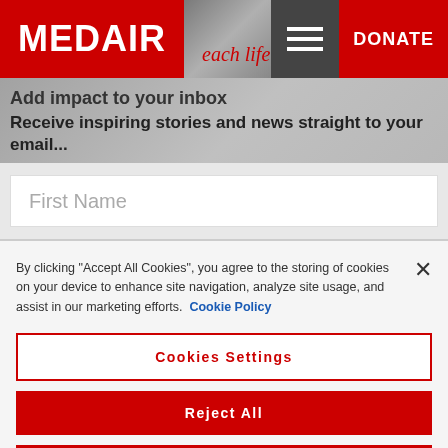MEDAIR | DONATE
Add impact to your inbox
Receive inspiring stories and news straight to your email...
First Name
By clicking “Accept All Cookies”, you agree to the storing of cookies on your device to enhance site navigation, analyze site usage, and assist in our marketing efforts. Cookie Policy
Cookies Settings
Reject All
Accept All Cookies